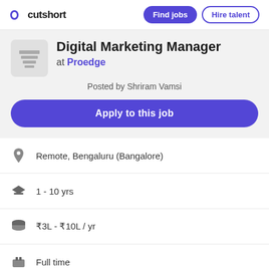cutshort  Find jobs  Hire talent
Digital Marketing Manager
at Proedge
Posted by Shriram Vamsi
Apply to this job
Remote, Bengaluru (Bangalore)
1 - 10 yrs
₹3L - ₹10L / yr
Full time